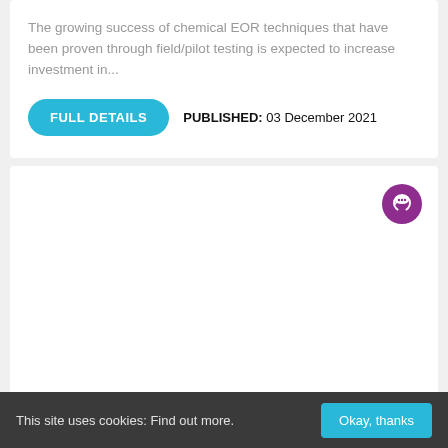The growing success of chemical EOR techniques that have been proven through field/pilot testing is expected to increase investment in...
FULL DETAILS
PUBLISHED: 03 December 2021
[Figure (other): White card area with a purple circular chat icon button in the top right corner]
Oilfield Services Market Report 2020-2030
This site uses cookies: Find out more.
Okay, thanks